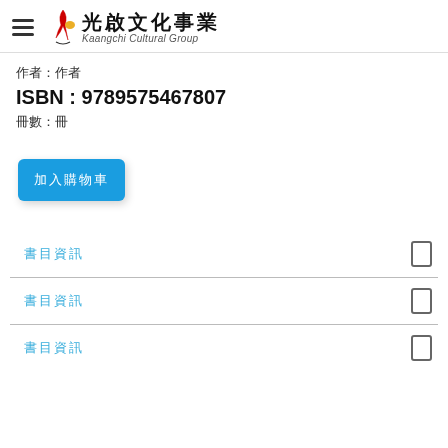光啟文化事業 Kaangchi Cultural Group
作者：作者
ISBN：9789575467807
冊數：冊
加入購物車 (button)
書目資訊
書目資訊
書目資訊